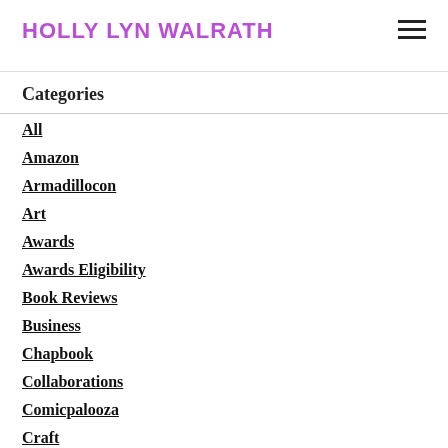HOLLY LYN WALRATH
Categories
All
Amazon
Armadillocon
Art
Awards
Awards Eligibility
Book Reviews
Business
Chapbook
Collaborations
Comicpalooza
Craft
Curious Fictions
Editing
Events